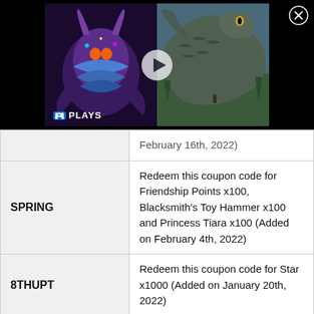[Figure (screenshot): Video thumbnail showing game characters with a play button overlay and PLAYS label at bottom left, on a black background. Close button (X) in top right corner.]
| Code | Description |
| --- | --- |
| (partial row) | February 16th, 2022) |
| SPRING | Redeem this coupon code for Friendship Points x100, Blacksmith's Toy Hammer x100 and Princess Tiara x100 (Added on February 4th, 2022) |
| 8THUPT | Redeem this coupon code for Star x1000 (Added on January 20th, 2022) |
| HALFJAN | Redeem this coupon code for Lucky Box Key x3 (Added on January 13th, ...) |